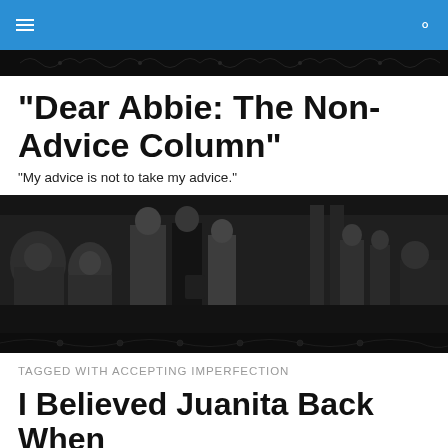[Figure (screenshot): Decorative dark banner with ornamental scroll patterns]
"Dear Abbie: The Non-Advice Column"
"My advice is not to take my advice."
[Figure (photo): Black and white photo of people on a city street, vintage film scene with a woman in dark clothing and several men around her]
[Figure (screenshot): Decorative dark banner with ornamental patterns]
TAGGED WITH ACCEPTING IMPERFECTION
I Believed Juanita Back When
[Figure (photo): Partial photo visible at bottom of page]